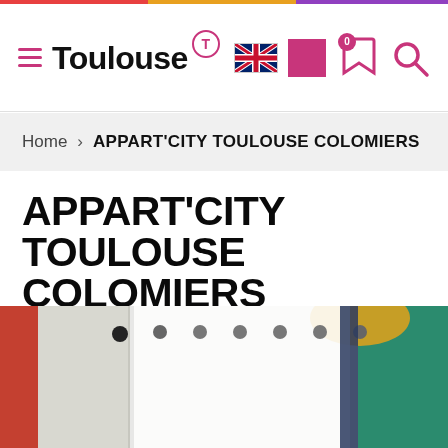Toulouse — navigation header with logo, UK flag, pink square, bookmark and search icons
Home > APPART'CITY TOULOUSE COLOMIERS
APPART'CITY TOULOUSE COLOMIERS
★★★
TOURIST RESORT RESIDENCE
[Figure (photo): Interior photo of the Appart'City Toulouse Colomiers hotel room showing white curtains, a yellow ceiling lamp, teal wall, and curtain pole with circular rings]